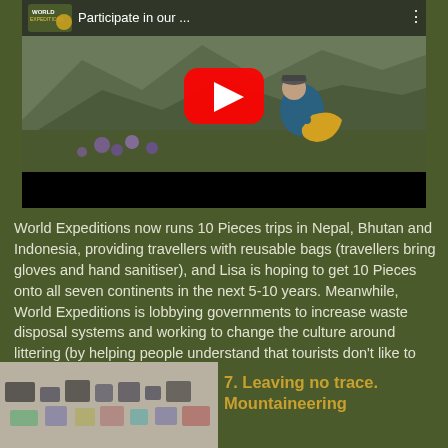[Figure (screenshot): YouTube video thumbnail showing a person crouching among purple flowers in a mountain landscape, picking up a yellow bag. The video title reads 'Participate in our ...' with a YouTube play button overlay.]
World Expeditions now runs 10 Pieces trips in Nepal, Bhutan and Indonesia, providing travellers with reusable bags (travellers bring gloves and hand sanitiser), and Lisa is hoping to get 10 Pieces onto all seven continents in the next 5-10 years. Meanwhile, World Expeditions is lobbying governments to increase waste disposal systems and working to change the culture around littering (by helping people understand that tourists don't like to see litter, for instance).
[Figure (photo): Photo of items laid out on a surface, appearing to show collected waste/litter items.]
7. Leaving no trace. Mountaineering